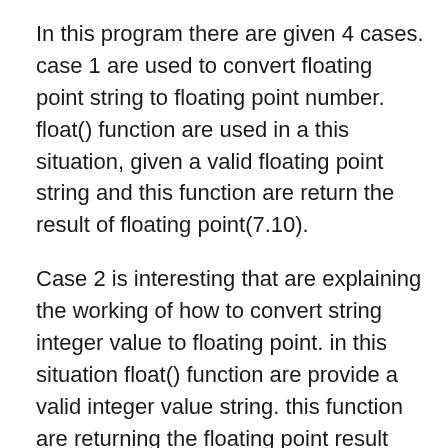In this program there are given 4 cases. case 1 are used to convert floating point string to floating point number. float() function are used in a this situation, given a valid floating point string and this function are return the result of floating point(7.10).
Case 2 is interesting that are explaining the working of how to convert string integer value to floating point. in this situation float() function are provide a valid integer value string. this function are returning the floating point result (7.0). note that this are adding of fraction part.
Case 3 is conversion of floating point to integer value. in this case use int() function and given a floating point parameter to this function. this